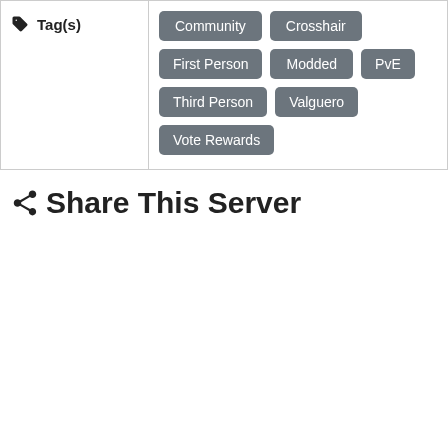| Tag(s) | Tags |
| --- | --- |
| Tag(s) | Community, Crosshair, First Person, Modded, PvE, Third Person, Valguero, Vote Rewards |
Share This Server